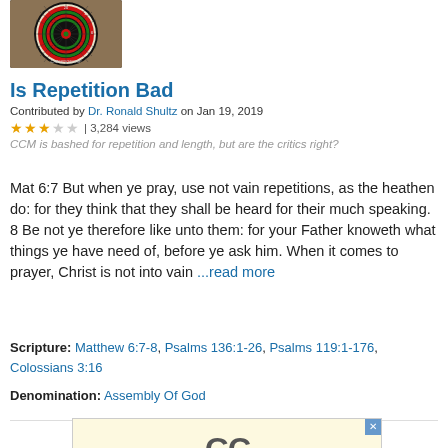[Figure (photo): A dartboard (championship dart board) photographed from the front, showing circular target with numbered sections in red, green, black and white.]
Is Repetition Bad
Contributed by Dr. Ronald Shultz on Jan 19, 2019
★★★☆☆ | 3,284 views
CCM is bashed for repetition and length, but are the critics right?
Mat 6:7 But when ye pray, use not vain repetitions, as the heathen do: for they think that they shall be heard for their much speaking. 8 Be not ye therefore like unto them: for your Father knoweth what things ye have need of, before ye ask him. When it comes to prayer, Christ is not into vain ...read more
Scripture: Matthew 6:7-8, Psalms 136:1-26, Psalms 119:1-176, Colossians 3:16
Denomination: Assembly Of God
[Figure (other): Advertisement banner with yellow background showing large bold GC letters logo]